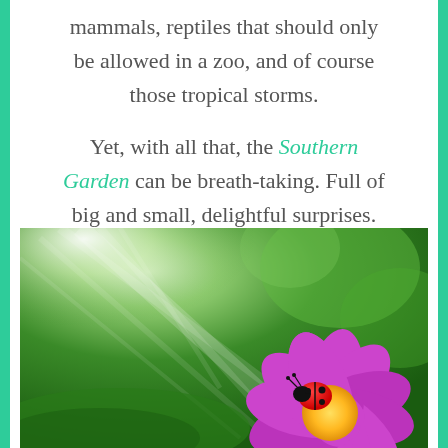mammals, reptiles that should only be allowed in a zoo, and of course those tropical storms.

Yet, with all that, the Southern Garden can be breath-taking. Full of big and small, delightful surprises.
[Figure (photo): A ladybug sitting on a purple/magenta flower with yellow center, surrounded by bright green bokeh background with sunrays coming from upper left]